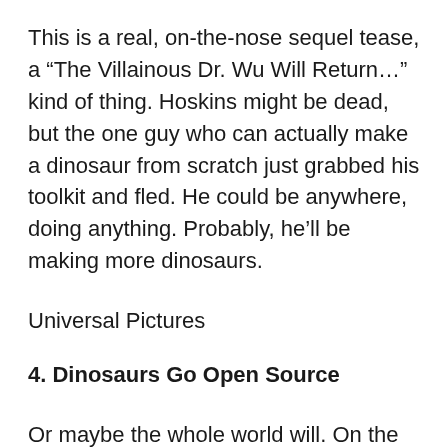This is a real, on-the-nose sequel tease, a “The Villainous Dr. Wu Will Return…” kind of thing. Hoskins might be dead, but the one guy who can actually make a dinosaur from scratch just grabbed his toolkit and fled. He could be anywhere, doing anything. Probably, he’ll be making more dinosaurs.
Universal Pictures
4. Dinosaurs Go Open Source
Or maybe the whole world will. On the subject of